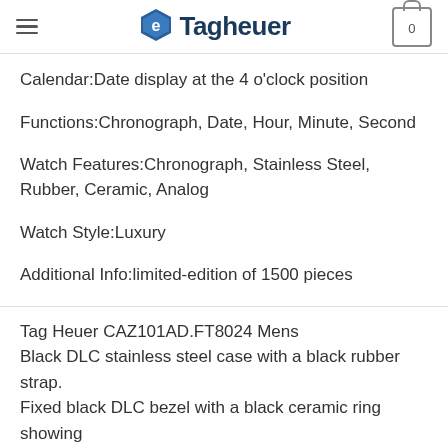Tagheuer
Calendar:Date display at the 4 o'clock position
Functions:Chronograph, Date, Hour, Minute, Second
Watch Features:Chronograph, Stainless Steel, Rubber, Ceramic, Analog
Watch Style:Luxury
Additional Info:limited-edition of 1500 pieces
Tag Heuer CAZ101AD.FT8024 Mens
Black DLC stainless steel case with a black rubber strap.
Fixed black DLC bezel with a black ceramic ring showing